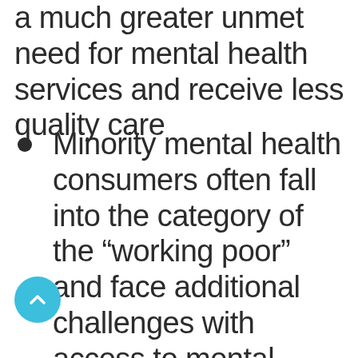a much greater unmet need for mental health services and receive less quality care
Minority mental health consumers often fall into the category of the “working poor” and face additional challenges with access to mental health care because they are underinsured or uninsured, which often leads to late diagnosis or no diagnosis of mental illness